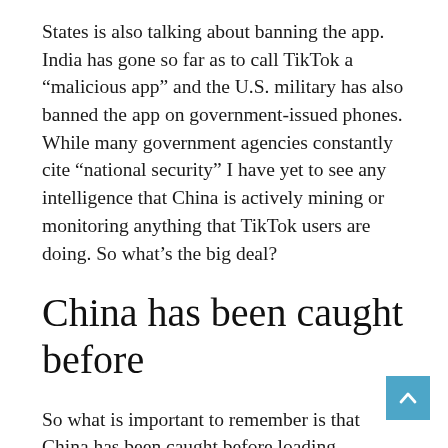States is also talking about banning the app. India has gone so far as to call TikTok a “malicious app” and the U.S. military has also banned the app on government-issued phones. While many government agencies constantly cite “national security” I have yet to see any intelligence that China is actively mining or monitoring anything that TikTok users are doing. So what’s the big deal?
China has been caught before
So what is important to remember is that China has been caught before loading malicious software into apps and devices. Just